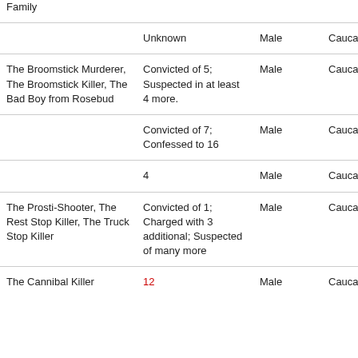| Nickname(s) | Victims | Gender | Ethnicity |  |
| --- | --- | --- | --- | --- |
| Family |  |  |  |  |
|  | Unknown | Male | Caucasian |  |
| The Broomstick Murderer, The Broomstick Killer, The Bad Boy from Rosebud | Convicted of 5; Suspected in at least 4 more. | Male | Caucasian |  |
|  | Convicted of 7; Confessed to 16 | Male | Caucasian |  |
|  | 4 | Male | Caucasian |  |
| The Prosti-Shooter, The Rest Stop Killer, The Truck Stop Killer | Convicted of 1; Charged with 3 additional; Suspected of many more | Male | Caucasian |  |
| The Cannibal Killer | 12 | Male | Caucasian |  |